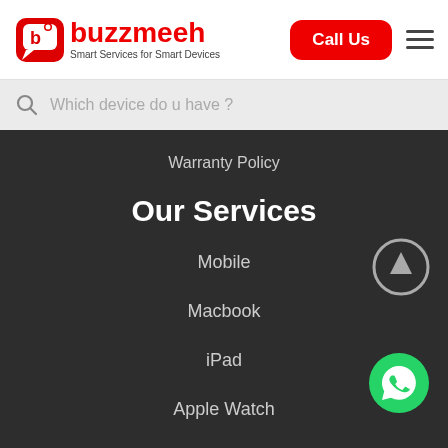[Figure (logo): Buzzmeeh logo with red chat bubble icon and text 'buzzmeeh — Smart Services for Smart Devices']
Call Us
≡
Which device do u have ?
Warranty Policy
Our Services
Mobile
Macbook
iPad
Apple Watch